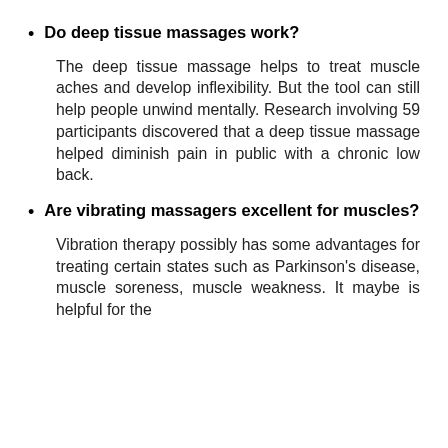Do deep tissue massages work?
The deep tissue massage helps to treat muscle aches and develop inflexibility. But the tool can still help people unwind mentally. Research involving 59 participants discovered that a deep tissue massage helped diminish pain in public with a chronic low back.
Are vibrating massagers excellent for muscles?
Vibration therapy possibly has some advantages for treating certain states such as Parkinson's disease, muscle soreness, muscle weakness. It maybe is helpful for the